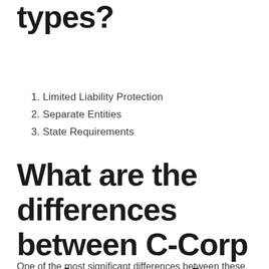types?
1. Limited Liability Protection
2. Separate Entities
3. State Requirements
What are the differences between C-Corp and LLC entity types?
One of the most significant differences between these